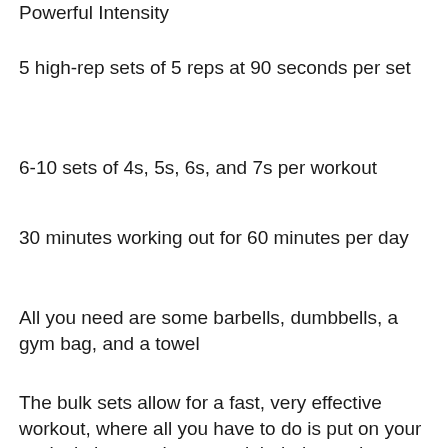Powerful Intensity
5 high-rep sets of 5 reps at 90 seconds per set
6-10 sets of 4s, 5s, 6s, and 7s per workout
30 minutes working out for 60 minutes per day
All you need are some barbells, dumbbells, a gym bag, and a towel
The bulk sets allow for a fast, very effective workout, where all you have to do is put on your work clothes, grab your weight belts, and get out the training equipment or the towel, ultimate bulking stack.
This Bulk Bulking Stack will add incredible mass to your muscular body, which you can feel and look like you just came off the